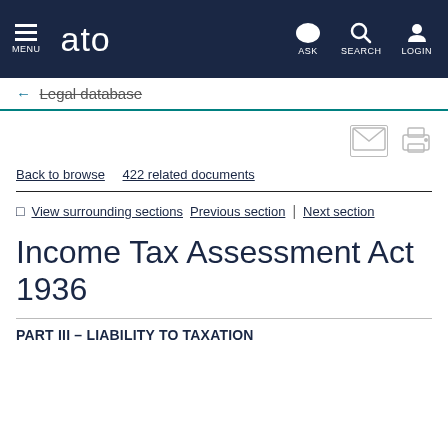MENU  ato  ASK  SEARCH  LOGIN
← Legal database
Back to browse   422 related documents
View surrounding sections   Previous section  |  Next section
Income Tax Assessment Act 1936
PART III – LIABILITY TO TAXATION